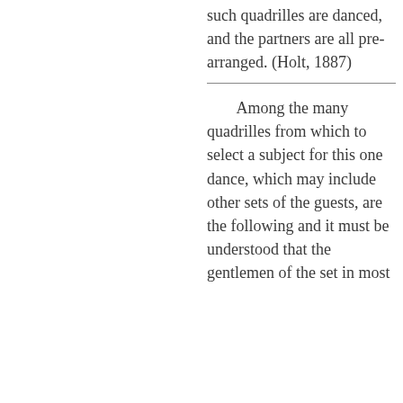such quadrilles are danced, and the partners are all pre-arranged. (Holt, 1887)
Among the many quadrilles from which to select a subject for this one dance, which may include other sets of the guests, are the following and it must be understood that the gentlemen of the set in most